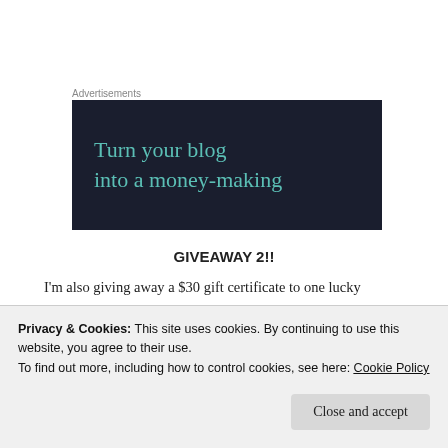Advertisements
[Figure (illustration): Dark navy blue advertisement banner with teal text reading 'Turn your blog into a money-making']
GIVEAWAY 2!!
I'm also giving away a $30 gift certificate to one lucky winner! Please leave a comment on this blog post by Wednesday, October 10th at 11:59 PM ET for a chance to
Privacy & Cookies: This site uses cookies. By continuing to use this website, you agree to their use.
To find out more, including how to control cookies, see here: Cookie Policy
Close and accept